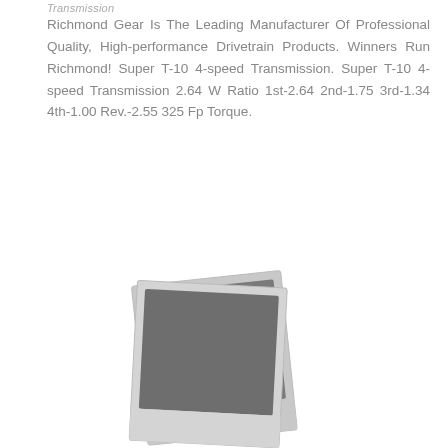Transmission
Richmond Gear Is The Leading Manufacturer Of Professional Quality, High-performance Drivetrain Products. Winners Run Richmond! Super T-10 4-speed Transmission. Super T-10 4-speed Transmission 2.64 W Ratio 1st-2.64 2nd-1.75 3rd-1.34 4th-1.00 Rev.-2.55 325 Fp Torque.
[Figure (photo): Two overlapping polaroid-style photographs showing a transmission product, rendered in grayscale.]